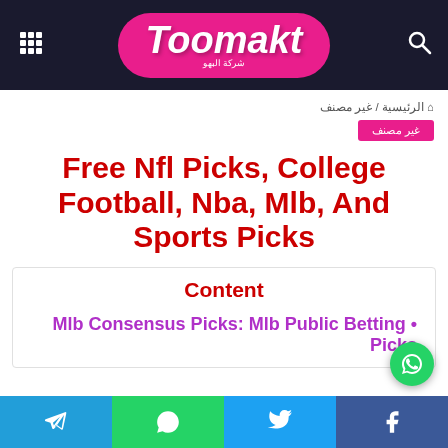Toomakt
الرئيسية / غير مصنف
غير مصنف
Free Nfl Picks, College Football, Nba, Mlb, And Sports Picks
Content
Mlb Consensus Picks: Mlb Public Betting Picks
Telegram | WhatsApp | Twitter | Facebook